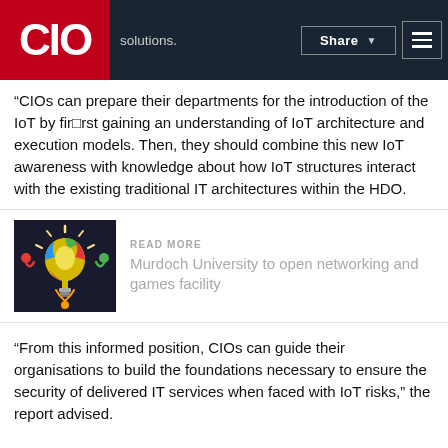CIO | solutions. | Share
“CIOs can prepare their departments for the introduction of the IoT by fir▪rst gaining an understanding of IoT architecture and execution models. Then, they should combine this new IoT awareness with knowledge about how IoT structures interact with the existing traditional IT architectures within the HDO.
[Figure (illustration): Colorful lightbulb made of puzzle pieces with rays, representing networking/innovation]
READ MORE
Murdoch University to open networking and games facility
“From this informed position, CIOs can guide their organisations to build the foundations necessary to ensure the security of delivered IT services when faced with IoT risks,” the report advised.